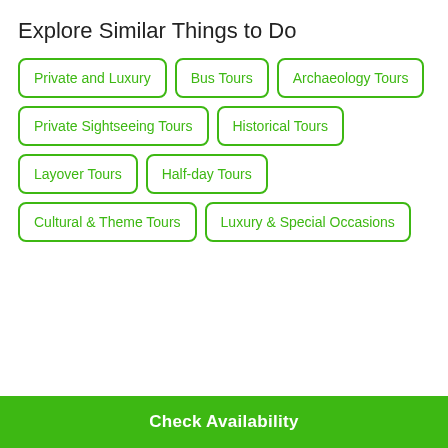Explore Similar Things to Do
Private and Luxury
Bus Tours
Archaeology Tours
Private Sightseeing Tours
Historical Tours
Layover Tours
Half-day Tours
Cultural & Theme Tours
Luxury & Special Occasions
Check Availability